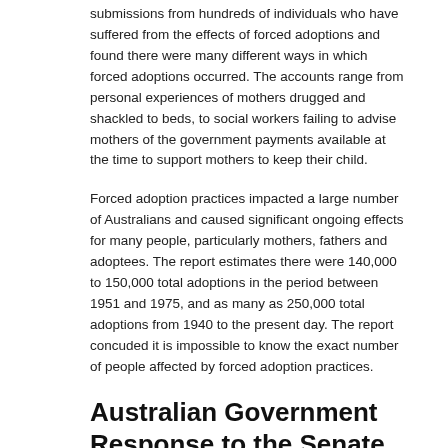submissions from hundreds of individuals who have suffered from the effects of forced adoptions and found there were many different ways in which forced adoptions occurred. The accounts range from personal experiences of mothers drugged and shackled to beds, to social workers failing to advise mothers of the government payments available at the time to support mothers to keep their child.
Forced adoption practices impacted a large number of Australians and caused significant ongoing effects for many people, particularly mothers, fathers and adoptees. The report estimates there were 140,000 to 150,000 total adoptions in the period between 1951 and 1975, and as many as 250,000 total adoptions from 1940 to the present day. The report concuded it is impossible to know the exact number of people affected by forced adoption practices.
Australian Government Response to the Senate